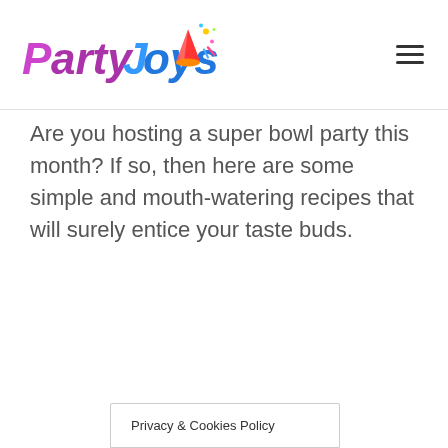PartyJoys (logo with navigation hamburger menu)
Are you hosting a super bowl party this month? If so, then here are some simple and mouth-watering recipes that will surely entice your taste buds.
Privacy & Cookies Policy